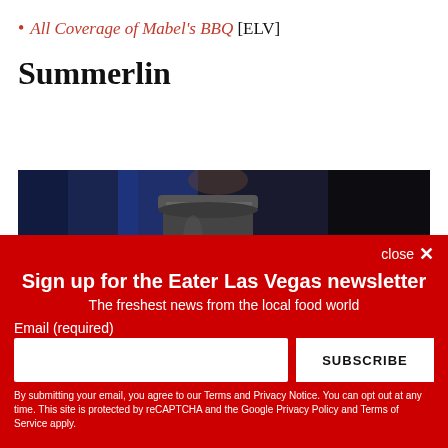All Coverage of Mabel's BBQ [ELV]
Summerlin
[Figure (photo): Dark blurry photo of kitchen scene with a metallic bucket/pot in the center against a dark background with blue and dark tones.]
close ×
Sign up for the Eater Las Vegas newsletter
The freshest news from the local food world
Email (required)
SUBSCRIBE
By submitting your email, you agree to our Terms and Privacy Notice. You can opt out at any time. This site is protected by reCAPTCHA and the Google Privacy Policy and Terms of Service apply.